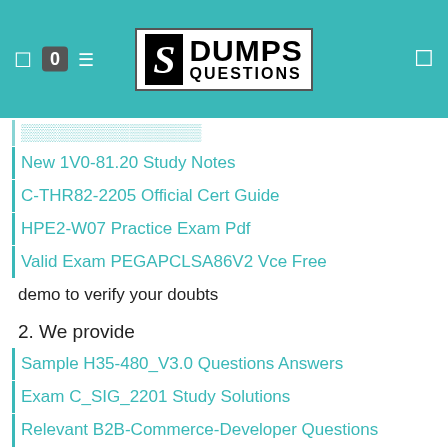[Figure (logo): DumpsQuestions logo with teal header background, badge showing 0, and stylized S logo with DUMPS QUESTIONS text]
New 1V0-81.20 Study Notes
C-THR82-2205 Official Cert Guide
HPE2-W07 Practice Exam Pdf
Valid Exam PEGAPCLSA86V2 Vce Free
demo to verify your doubts
2. We provide
Sample H35-480_V3.0 Questions Answers
Exam C_SIG_2201 Study Solutions
Relevant B2B-Commerce-Developer Questions
C_S4CPS_2208 Latest Study Questions
Vce CFE-Investigation Format
C_THR86_2205 Examinations Actual Questions
PAM-SEN Test Centres
ESDP2201B Related Exams
Valid C_HRHEC_2205 Test Guide